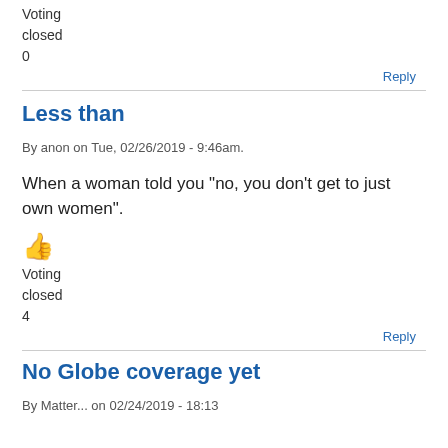Voting
closed
0
Reply
Less than
By anon on Tue, 02/26/2019 - 9:46am.
When a woman told you "no, you don't get to just own women".
👍
Voting
closed
4
Reply
No Globe coverage yet
By Matter... on 02/24/2019 - 18:13